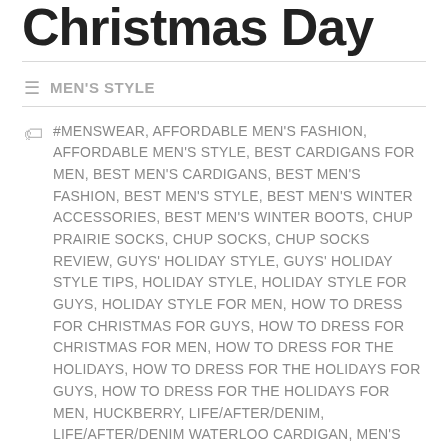Christmas Day
MEN'S STYLE
#MENSWEAR, AFFORDABLE MEN'S FASHION, AFFORDABLE MEN'S STYLE, BEST CARDIGANS FOR MEN, BEST MEN'S CARDIGANS, BEST MEN'S FASHION, BEST MEN'S STYLE, BEST MEN'S WINTER ACCESSORIES, BEST MEN'S WINTER BOOTS, CHUP PRAIRIE SOCKS, CHUP SOCKS, CHUP SOCKS REVIEW, GUYS' HOLIDAY STYLE, GUYS' HOLIDAY STYLE TIPS, HOLIDAY STYLE, HOLIDAY STYLE FOR GUYS, HOLIDAY STYLE FOR MEN, HOW TO DRESS FOR CHRISTMAS FOR GUYS, HOW TO DRESS FOR CHRISTMAS FOR MEN, HOW TO DRESS FOR THE HOLIDAYS, HOW TO DRESS FOR THE HOLIDAYS FOR GUYS, HOW TO DRESS FOR THE HOLIDAYS FOR MEN, HUCKBERRY, LIFE/AFTER/DENIM, LIFE/AFTER/DENIM WATERLOO CARDIGAN, MEN'S FASHION, MEN'S HOLIDAY STYLE, MEN'S HOLIDAY STYLE TIPS, MEN'S STYLE, MEN'S STYLE SUGGESTION, MEN'S WINTER STYLE ESSENTIALS, MENSWEAR SUGGESTION, NISOLO, NISOLO BOOTS